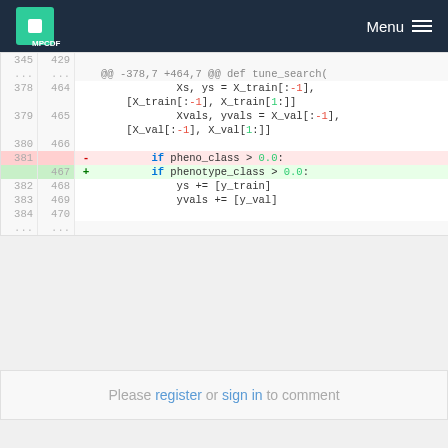MPCDF Menu
[Figure (screenshot): Code diff view showing Python code changes renaming 'pheno_class' to 'phenotype_class' in a tune_search function. Lines 378-384 (old) and 464-470 (new) shown with context. Deleted line 381 shows 'if pheno_class > 0.0:' and added line 467 shows 'if phenotype_class > 0.0:'.]
Please register or sign in to comment